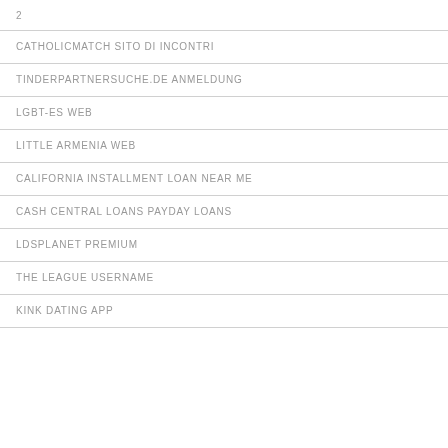2
CATHOLICMATCH SITO DI INCONTRI
TINDERPARTNERSUCHE.DE ANMELDUNG
LGBT-ES WEB
LITTLE ARMENIA WEB
CALIFORNIA INSTALLMENT LOAN NEAR ME
CASH CENTRAL LOANS PAYDAY LOANS
LDSPLANET PREMIUM
THE LEAGUE USERNAME
KINK DATING APP